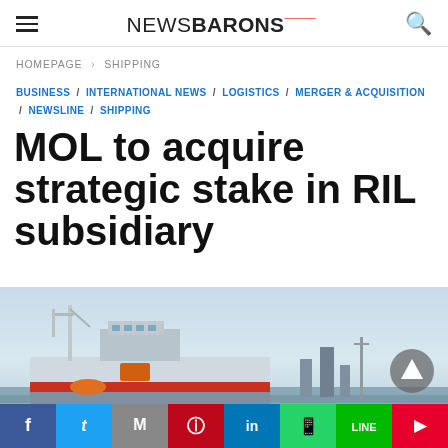NEWSBARONS
HOMEPAGE > SHIPPING
BUSINESS / INTERNATIONAL NEWS / LOGISTICS / MERGER & ACQUISITION / NEWSLINE / SHIPPING
MOL to acquire strategic stake in RIL subsidiary
[Figure (photo): Cargo/supply ship at port with cranes, pale blue sky background. Social media share bar at bottom with Facebook, Twitter, Gmail, Pinterest, LinkedIn, WhatsApp, Line, Flipboard icons.]